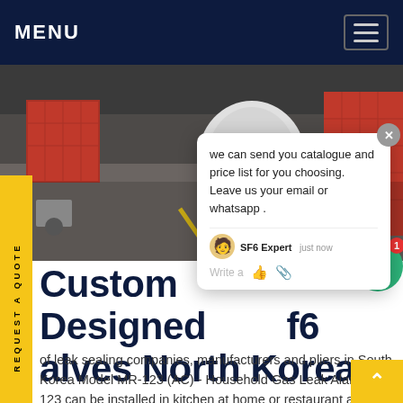MENU
[Figure (photo): Warehouse interior with industrial equipment, red storage units, and a concrete floor with yellow markings.]
we can send you catalogue and price list for you choosing. Leave us your email or whatsapp .
Custom Designed sf6 alves North Korea
of leak sealing companies, manufacturers and pliers in South Korea Model MR-123 (AC) - Household Gas Leak Alarm MR-123 can be installed in kitchen at home or restaurant and blows alarm gas leakage occurs.Get price